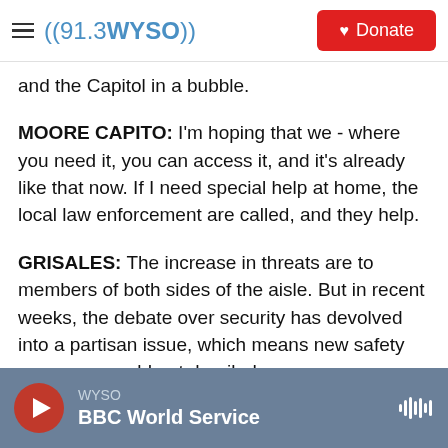((91.3 WYSO)) | Donate
and the Capitol in a bubble.
MOORE CAPITO: I'm hoping that we - where you need it, you can access it, and it's already like that now. If I need special help at home, the local law enforcement are called, and they help.
GRISALES: The increase in threats are to members of both sides of the aisle. But in recent weeks, the debate over security has devolved into a partisan issue, which means new safety measures could get derailed.
Claudia Grisales, NPR News, the Capitol
WYSO | BBC World Service